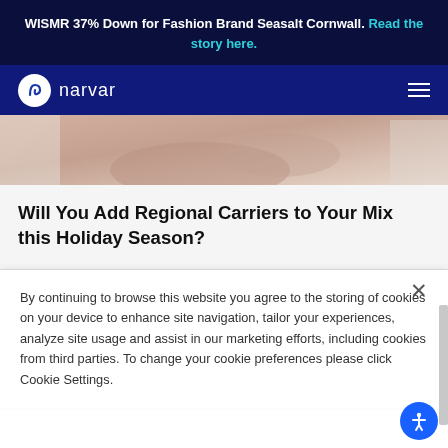WISMR 37% Down for Fashion Brand Seasalt Cornwall. Read the story here.
[Figure (logo): Narvar logo with circular icon and wordmark on dark blue navigation bar]
[Figure (photo): Close-up photo of hands, warm toned background]
Will You Add Regional Carriers to Your Mix this Holiday Season?
By continuing to browse this website you agree to the storing of cookies on your device to enhance site navigation, tailor your experiences, analyze site usage and assist in our marketing efforts, including cookies from third parties. To change your cookie preferences please click Cookie Settings.